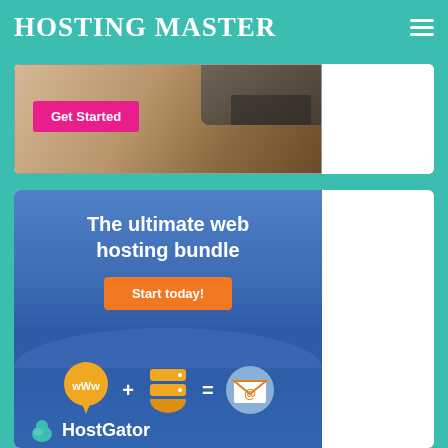HOSTING MASTER
[Figure (screenshot): Top banner with laptop image and pink 'Get Started' button]
[Figure (infographic): HostGator web hosting bundle ad: 'The ultimate web hosting bundle', orange 'Start today!' button, icons showing www balloon + server = email envelope, HostGator logo at bottom]
[Figure (screenshot): Partial bottom banner, cropped]